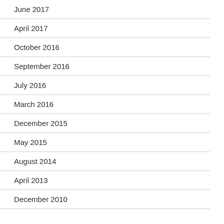June 2017
April 2017
October 2016
September 2016
July 2016
March 2016
December 2015
May 2015
August 2014
April 2013
December 2010